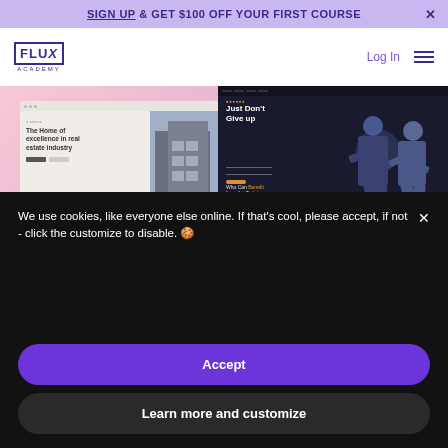SIGN UP & GET $100 OFF YOUR FIRST COURSE
[Figure (logo): Flux Academy logo — FLUX in a square border, ACADEMY below]
Log In
[Figure (screenshot): Two website mockup screenshots side by side: left shows a real estate website 'The Home of excellence in real estate industry', right shows a dark fitness website 'Just Don't Give up']
We use cookies, like everyone else online. If that's cool, please accept, if not - click the customize to disable.
Accept
Learn more and customize